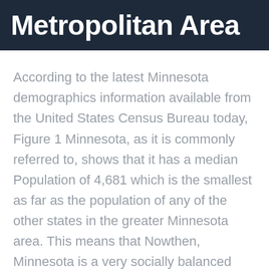Metropolitan Area
According to the latest Minnesota demographics information available from the United States Census Bureau today, Figure 1 Minnesota, as it is commonly referred to, shows that it has a median Population of 4,681 which is the smallest as far as the population of any of the other states in the greater Minnesota area. This means that Nowthen, Minnesota is a very socially balanced community and has fewer concentrations of wealth and poverty than some other